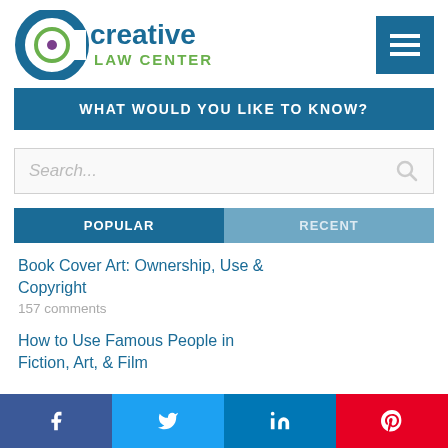[Figure (logo): Creative Law Center logo with circular C icon and text 'creative LAW CENTER']
WHAT WOULD YOU LIKE TO KNOW?
Search...
POPULAR | RECENT
Book Cover Art: Ownership, Use & Copyright
157 comments
How to Use Famous People in Fiction, Art, & Film